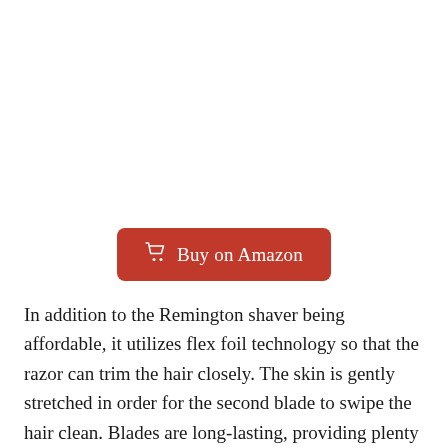[Figure (other): Buy on Amazon button with shopping cart icon, red rounded rectangle]
In addition to the Remington shaver being affordable, it utilizes flex foil technology so that the razor can trim the hair closely. The skin is gently stretched in order for the second blade to swipe the hair clean. Blades are long-lasting, providing plenty of clean cuts throughout the year. Pop-up trimmer gives users the opportunity to clean up sideburns or mustaches easily.